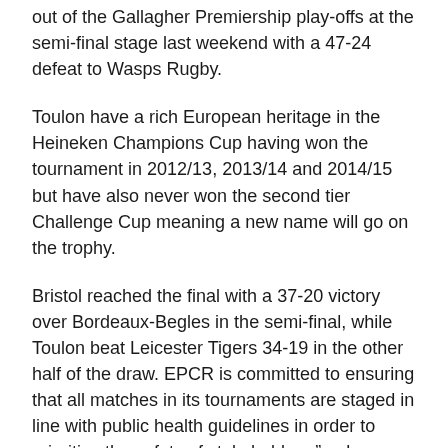out of the Gallagher Premiership play-offs at the semi-final stage last weekend with a 47-24 defeat to Wasps Rugby.
Toulon have a rich European heritage in the Heineken Champions Cup having won the tournament in 2012/13, 2013/14 and 2014/15 but have also never won the second tier Challenge Cup meaning a new name will go on the trophy.
Bristol reached the final with a 37-20 victory over Bordeaux-Begles in the semi-final, while Toulon beat Leicester Tigers 34-19 in the other half of the draw. EPCR is committed to ensuring that all matches in its tournaments are staged in line with public health guidelines in order to prioritise the safety of stakeholders."asd
However, the top-tier Champions Cup final between Exeter Chiefs and Racing 92 will be played without spectators at Ashton